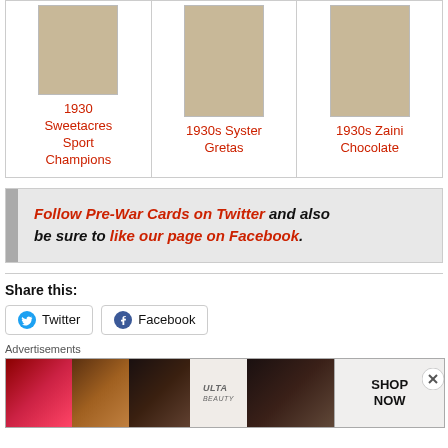[Figure (photo): Three vintage sports trading cards in a grid layout. Left: 1930 Sweetacres Sport Champions. Middle: 1930s Syster Gretas. Right: 1930s Zaini Chocolate.]
1930 Sweetacres Sport Champions
1930s Syster Gretas
1930s Zaini Chocolate
Follow Pre-War Cards on Twitter and also be sure to like our page on Facebook.
Share this:
Twitter
Facebook
Advertisements